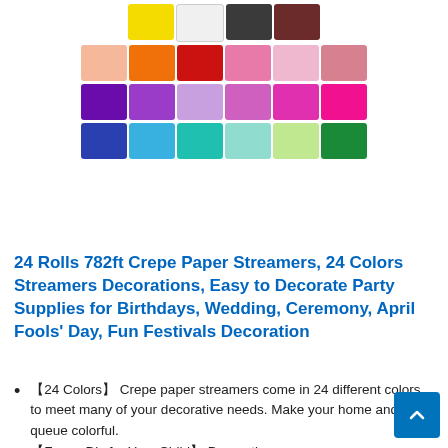[Figure (photo): Four rows of colorful crepe paper streamer rolls. Row 1: yellow, white, dark gray/charcoal, dark brown. Row 2: peach/salmon, orange, red, pink, light pink, mauve. Row 3: purple, medium purple, lavender, orchid, magenta, bright pink. Row 4: dark blue/cobalt, sky blue, teal, light teal, light green, green.]
24 Rolls 782ft Crepe Paper Streamers, 24 Colors Streamers Decorations, Easy to Decorate Party Supplies for Birthdays, Wedding, Ceremony, April Fools' Day, Fun Festivals Decoration
【24 Colors】 Crepe paper streamers come in 24 different colors to meet many of your decorative needs. Make your home and queue colorful.
【Funny Diy for Your Child】 Decorative crepe paper allows you and your kids to experience the joy of DIY home decorating. It not only promotes the distance between you and your child, but also